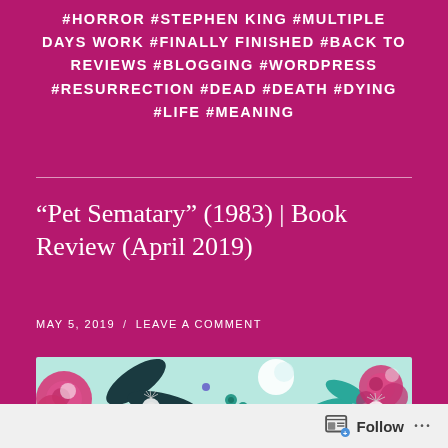#HORROR #STEPHEN KING #MULTIPLE DAYS WORK #FINALLY FINISHED #BACK TO REVIEWS #BLOGGING #WORDPRESS #RESURRECTION #DEAD #DEATH #DYING #LIFE #MEANING
“Pet Sematary” (1983) | Book Review (April 2019)
MAY 5, 2019  /  LEAVE A COMMENT
[Figure (illustration): Decorative floral illustration on light teal background with pink roses, dark leaves, dandelions, teal flower stems, and small purple dots]
Follow ...